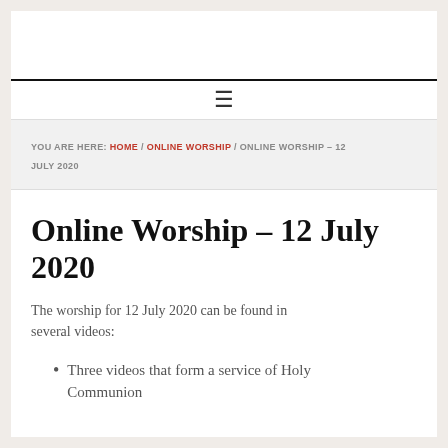☰
YOU ARE HERE: HOME / ONLINE WORSHIP / ONLINE WORSHIP – 12 JULY 2020
Online Worship – 12 July 2020
The worship for 12 July 2020 can be found in several videos:
Three videos that form a service of Holy Communion